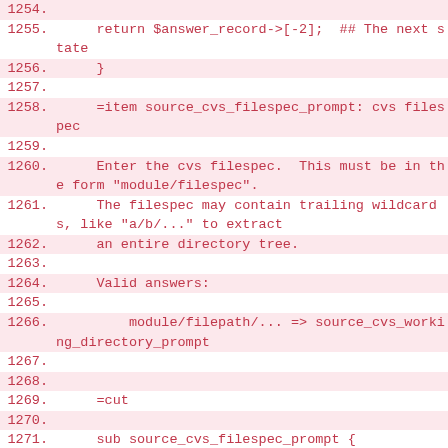1254.
1255.     return $answer_record->[-2];  ## The next state
1256.     }
1257.
1258.     =item source_cvs_filespec_prompt: cvs filespec
1259.
1260.     Enter the cvs filespec.  This must be in the form "module/filespec".
1261.     The filespec may contain trailing wildcards, like "a/b/..." to extract
1262.     an entire directory tree.
1263.
1264.     Valid answers:
1265.
1266.         module/filepath/... => source_cvs_working_directory_prompt
1267.
1268.
1269.     =cut
1270.
1271.     sub source_cvs_filespec_prompt {
1272.         my ( $ui ) = @_;
1273.